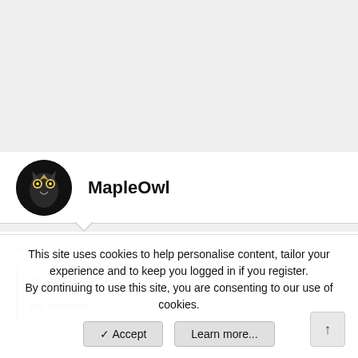[Figure (photo): Gray empty area at top of page, likely ad or image placeholder]
MapleOwl
Feb 6, 2018   #72
RehabMan said: ↑
No whitelist
This site uses cookies to help personalise content, tailor your experience and to keep you logged in if you register.
By continuing to use this site, you are consenting to our use of cookies.
✓ Accept   Learn more...